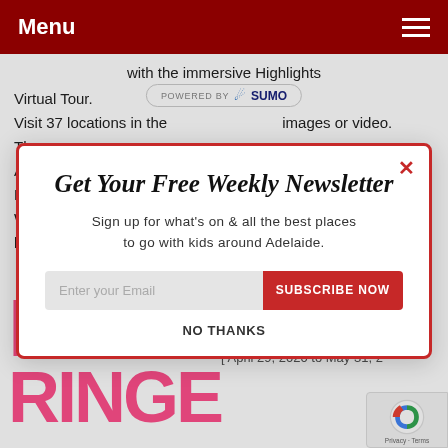Menu
with the immersive Highlights Virtual Tour.
Visit 37 locations in the city through 360 images or video.
There
Adel
Hous
Watc
bust
[Figure (screenshot): Powered by SUMO banner]
[Figure (screenshot): Newsletter signup modal with title 'Get Your Free Weekly Newsletter', body text 'Sign up for what's on & all the best places to go with kids around Adelaide.', email input field, SUBSCRIBE NOW button, and NO THANKS link]
Fringe Goes Online | May 2020
April 8, 2020
[ April 29, 2020 to May 31, 2...